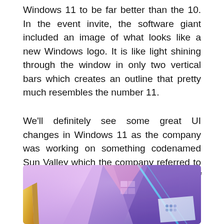Windows 11 to be far better than the 10. In the event invite, the software giant included an image of what looks like a new Windows logo. It is like light shining through the window in only two vertical bars which creates an outline that pretty much resembles the number 11.
We'll definitely see some great UI changes in Windows 11 as the company was working on something codenamed Sun Valley which the company referred to as "Sweeping Visual Rejuvenation of Windows".
[Figure (photo): A stylized abstract image with geometric shapes and glowing light effects in purple, pink, blue, and gold tones, suggesting a futuristic Windows 11 aesthetic with triangular faceted surfaces and glowing blue accent lines.]